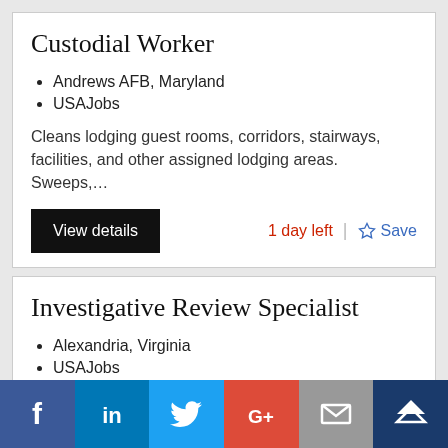Custodial Worker
Andrews AFB, Maryland
USAJobs
Cleans lodging guest rooms, corridors, stairways, facilities, and other assigned lodging areas. Sweeps,…
View details
1 day left
Save
Investigative Review Specialist
Alexandria, Virginia
USAJobs
[Figure (infographic): Facebook share button]
[Figure (infographic): LinkedIn share button]
[Figure (infographic): Twitter share button]
[Figure (infographic): Google+ share button]
[Figure (infographic): Email share button]
[Figure (infographic): Mews/crown share button]